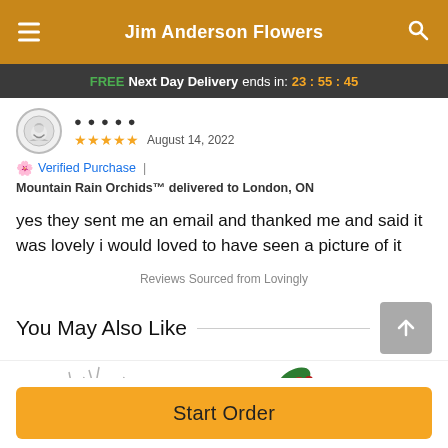Jim Anderson Flowers
FREE Next Day Delivery ends in: 23 : 55 : 45
★★★★★  August 14, 2022
Verified Purchase | Mountain Rain Orchids™ delivered to London, ON
yes they sent me an email and thanked me and said it was lovely i would loved to have seen a picture of it
Reviews Sourced from Lovingly
You May Also Like
[Figure (photo): Partial product images at the bottom of the page]
Start Order